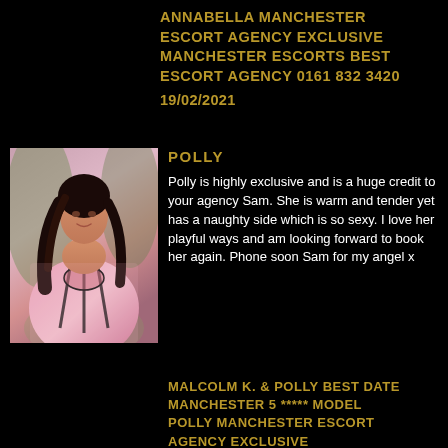ANNABELLA MANCHESTER ESCORT AGENCY EXCLUSIVE MANCHESTER ESCORTS BEST ESCORT AGENCY 0161 832 3420
19/02/2021
[Figure (photo): Woman in pink floral dress with black ribbon details, dark hair, outdoor setting]
POLLY
Polly is highly exclusive and is a huge credit to your agency Sam. She is warm and tender yet has a naughty side which is so sexy. I love her playful ways and am looking forward to book her again. Phone soon Sam for my angel x
MALCOLM K. & POLLY BEST DATE MANCHESTER 5 ***** MODEL POLLY MANCHESTER ESCORT AGENCY EXCLUSIVE